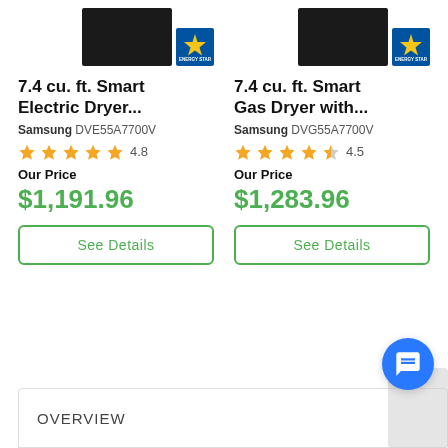[Figure (photo): Samsung DVE55A7700V electric dryer appliance image (dark/black) with Energy Star badge, top of product card]
7.4 cu. ft. Smart Electric Dryer...
Samsung DVE55A7700V
[Figure (other): Star rating: 4.8 out of 5 stars (5 filled stars)]
Our Price
$1,191.96
See Details
[Figure (photo): Samsung DVG55A7700V gas dryer appliance image (dark/black) with Energy Star badge, top of product card]
7.4 cu. ft. Smart Gas Dryer with...
Samsung DVG55A7700V
[Figure (other): Star rating: 4.5 out of 5 stars (4 filled + 1 half star)]
Our Price
$1,283.96
See Details
OVERVIEW